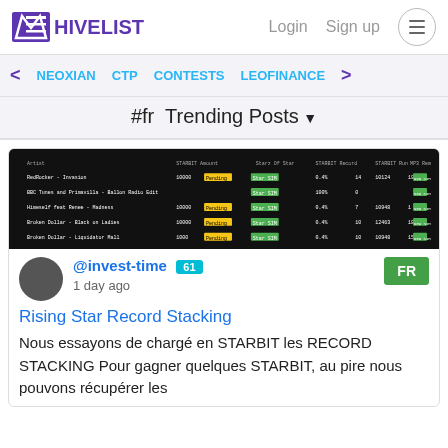HIVELIST | Login | Sign up
NEOXIAN  CTP  CONTESTS  LEOFINANCE
#fr  Trending Posts
[Figure (screenshot): Dark-background table showing Rising Star game STARBIT record stacking data with colored badges (yellow and green).]
@invest-time 61  1 day ago  FR
Rising Star Record Stacking
Nous essayons de chargé en STARBIT les RECORD STACKING Pour gagner quelques STARBIT, au pire nous pouvons récupérer les